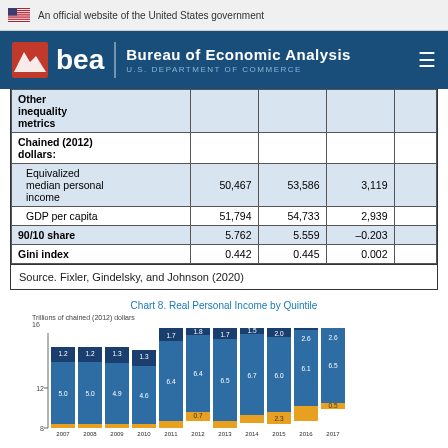An official website of the United States government
Bureau of Economic Analysis | U.S. DEPARTMENT OF COMMERCE
|  |  |  |  |  |
| --- | --- | --- | --- | --- |
| Other inequality metrics |  |  |  |  |
| Chained (2012) dollars: |  |  |  |  |
| Equivalized median personal income | 50,467 | 53,586 | 3,119 |  |
| GDP per capita | 51,794 | 54,733 | 2,939 |  |
| 90/10 share | 5.762 | 5.559 | –0.203 |  |
| Gini index | 0.442 | 0.445 | 0.002 |  |
Source. Fixler, Gindelsky, and Johnson (2020)
Chart 8. Real Personal Income by Quintile
[Figure (stacked-bar-chart): Chart 8. Real Personal Income by Quintile]